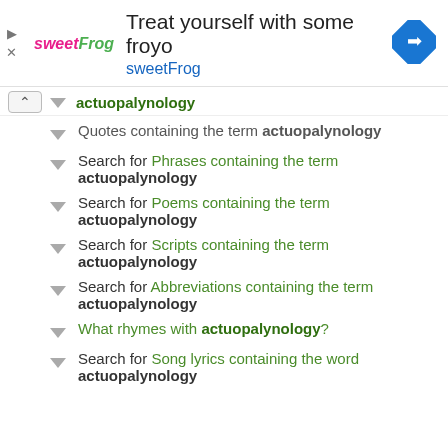[Figure (other): Advertisement banner for sweetFrog frozen yogurt with logo, title text 'Treat yourself with some froyo', subtitle 'sweetFrog', and a blue navigation/directions icon on the right.]
actuopalynology (partial, top of list)
Quotes containing the term actuopalynology
Search for Phrases containing the term actuopalynology
Search for Poems containing the term actuopalynology
Search for Scripts containing the term actuopalynology
Search for Abbreviations containing the term actuopalynology
What rhymes with actuopalynology?
Search for Song lyrics containing the word actuopalynology